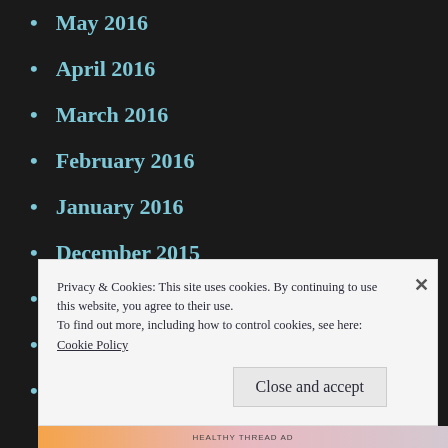May 2016
April 2016
March 2016
February 2016
January 2016
December 2015
November 2015
October 2015
September 2015
Privacy & Cookies: This site uses cookies. By continuing to use this website, you agree to their use. To find out more, including how to control cookies, see here: Cookie Policy
Close and accept